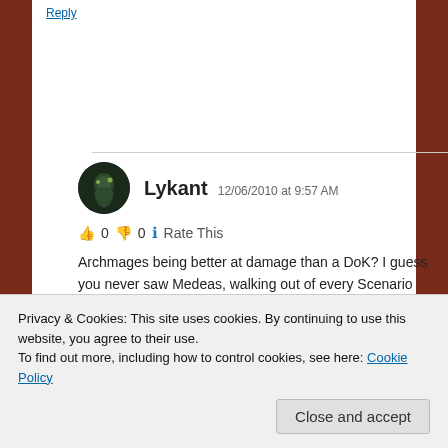Reply
Lykant 12/06/2010 at 9:57 AM
👍 0 👎 0 ℹ Rate This
Archmages being better at damage than a DoK? I guess you never saw Medeas, walking out of every Scenario with more damage done than any DD, no matter of AOE- or single-skilled. It's not just the heal...
Privacy & Cookies: This site uses cookies. By continuing to use this website, you agree to their use. To find out more, including how to control cookies, see here: Cookie Policy
Close and accept